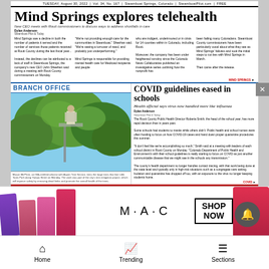TUESDAY, August 30, 2022 | Vol. 34, No. 167 | Steamboat Springs, Colorado | SteamboatPilot.com | FREE
Mind Springs explores telehealth
New CEO meets with Routt commissioners to discuss ways to address shortfalls in care
Dylan Anderson
Steamboat Pilot & Today
Mind Springs saw a decline in both the number of patients it served and the number of services those patients received at Routt County during the last fiscal year...
BRANCH OFFICE
[Figure (photo): Person in bucket lift truck above tree canopy, trimming trees at Rio Vista Park along Yampa Street in Steamboat Springs on Monday.]
Mason McPhee, an ISA-certified arborist with Aspen Tree Service, trims the large trees that line Little Toots Park along Yampa Street on Monday. The work was part of the city's tree mitigation project, which will improve safety by removing dead limbs and promote the overall health of the trees.
COVID guidelines eased in schools
Health official says virus now handled more like influenza
Dylan Anderson
Steamboat Pilot & Today
The Routt County Public Health Director Roberta Smith, the head of the school year, has more rapid decision than in years past...
[Figure (photo): Red advertisement banner for Signature Specialty Clinic: Happy Feet, Happy Life - The only podiatrist in the region! 970-826-2465, 2201 Curve Plaza, Steamboat]
[Figure (photo): MAC cosmetics advertisement showing colorful lipsticks with SHOP NOW call to action]
Home    Trending    Sections